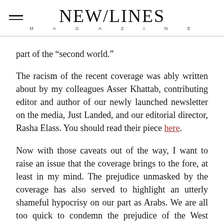NEW/LINES MAGAZINE
part of the “second world.”
The racism of the recent coverage was ably written about by my colleagues Asser Khattab, contributing editor and author of our newly launched newsletter on the media, Just Landed, and our editorial director, Rasha Elass. You should read their piece here.
Now with those caveats out of the way, I want to raise an issue that the coverage brings to the fore, at least in my mind. The prejudice unmasked by the coverage has also served to highlight an utterly shameful hypocrisy on our part as Arabs. We are all too quick to condemn the prejudice of the West against refugees from our part of the world while